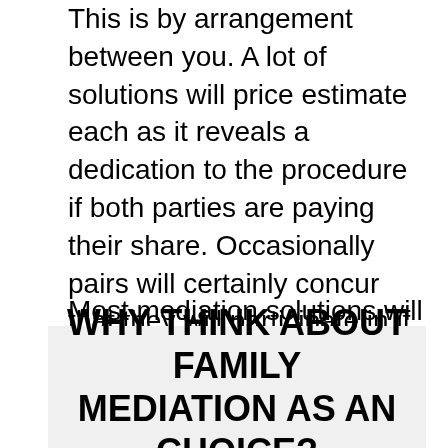This is by arrangement between you. A lot of solutions will price estimate each as it reveals a dedication to the procedure if both parties are paying their share. Occasionally pairs will certainly concur that they will participate in if the other event pays and also in some cases they will settle up the costs from the economic contract reached.
Most mediation solutions will certainly ask you to pay as you choose the mediation you get. See our blog site on that spends for more family mediation if you can not concur.
WHY THINK ABOUT FAMILY MEDIATION AS AN CHOICE?